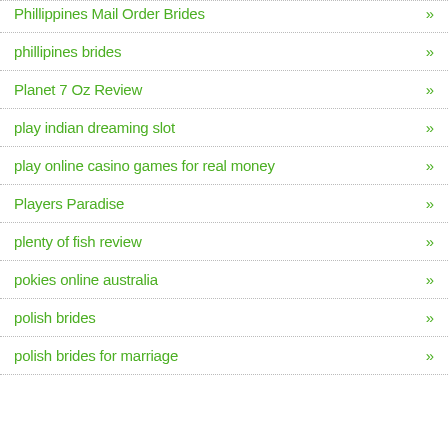Phillippines Mail Order Brides »
phillipines brides »
Planet 7 Oz Review »
play indian dreaming slot »
play online casino games for real money »
Players Paradise »
plenty of fish review »
pokies online australia »
polish brides »
polish brides for marriage »